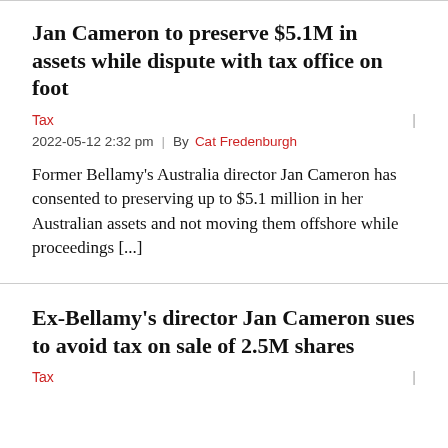Jan Cameron to preserve $5.1M in assets while dispute with tax office on foot
Tax | 2022-05-12 2:32 pm | By Cat Fredenburgh
Former Bellamy's Australia director Jan Cameron has consented to preserving up to $5.1 million in her Australian assets and not moving them offshore while proceedings [...]
Ex-Bellamy's director Jan Cameron sues to avoid tax on sale of 2.5M shares
Tax |